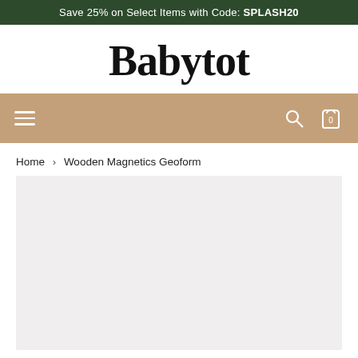Save 25% on Select Items with Code: SPLASH20
Babytot
Navigation bar with menu, search, and cart icons
Home > Wooden Magnetics Geoform
[Figure (photo): Light grey product image placeholder area for Wooden Magnetics Geoform product page]